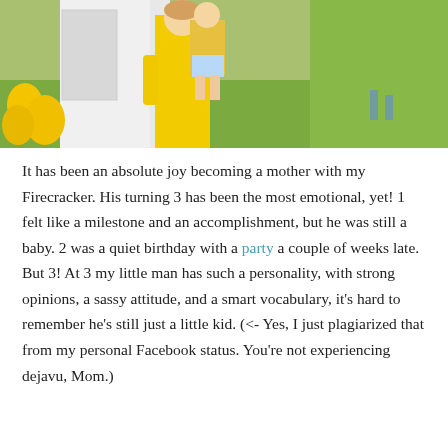[Figure (photo): Photo of a woman in a yellow dress holding a young child outdoors near green grass and a white wall; yellow balloons visible on the left side]
It has been an absolute joy becoming a mother with my Firecracker. His turning 3 has been the most emotional, yet! 1 felt like a milestone and an accomplishment, but he was still a baby. 2 was a quiet birthday with a party a couple of weeks late. But 3! At 3 my little man has such a personality, with strong opinions, a sassy attitude, and a smart vocabulary, it's hard to remember he's still just a little kid. (<- Yes, I just plagiarized that from my personal Facebook status. You're not experiencing dejavu, Mom.)